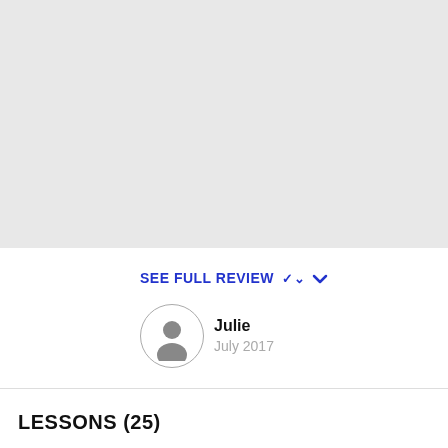[Figure (other): Gray placeholder image block at the top of the page]
SEE FULL REVIEW ▾
Julie
July 2017
LESSONS (25)